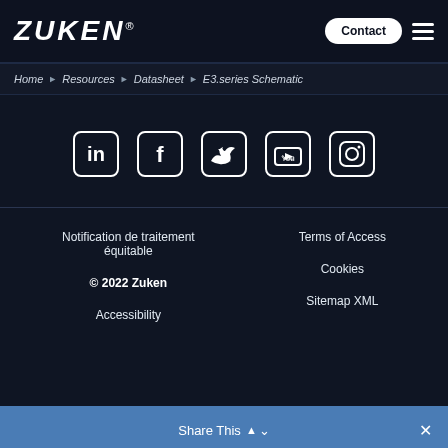ZUKEN® | Contact | [menu]
Home ▶ Resources ▶ Datasheet ▶ E3.series Schematic
[Figure (infographic): Row of five social media icons (LinkedIn, Facebook, Twitter, YouTube, Instagram) as white rounded-square outlined icons on dark background]
Notification de traitement équitable
Terms of Access
© 2022 Zuken
Cookies
Accessibility
Sitemap XML
Share This ∧ ∨ ✕